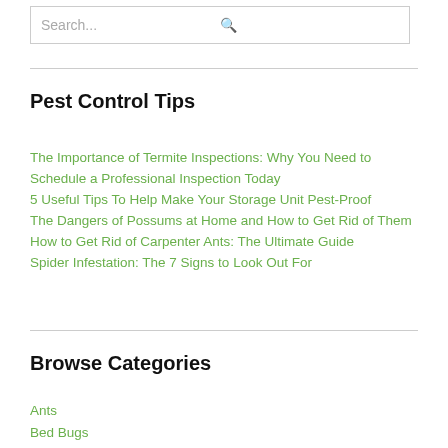Search...
Pest Control Tips
The Importance of Termite Inspections: Why You Need to Schedule a Professional Inspection Today
5 Useful Tips To Help Make Your Storage Unit Pest-Proof
The Dangers of Possums at Home and How to Get Rid of Them
How to Get Rid of Carpenter Ants: The Ultimate Guide
Spider Infestation: The 7 Signs to Look Out For
Browse Categories
Ants
Bed Bugs
Birds